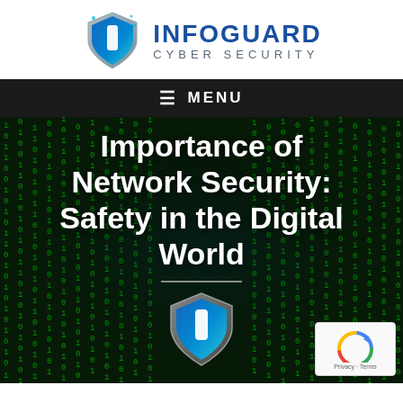[Figure (logo): InfoGuard Cyber Security logo with shield icon and company name]
≡ MENU
Importance of Network Security: Safety in the Digital World
[Figure (logo): InfoGuard shield logo watermark in hero section]
[Figure (other): reCAPTCHA widget showing Privacy - Terms text]